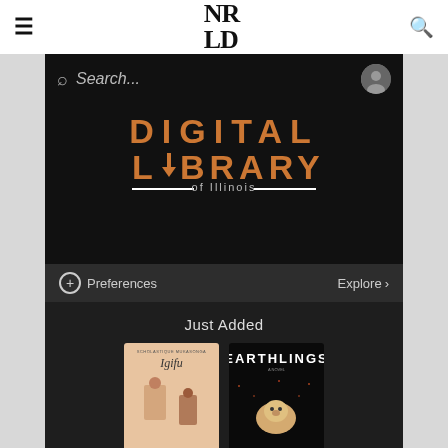NR LD — Digital Library of Illinois app header with hamburger menu and search icon
[Figure (screenshot): Mobile app screenshot showing Digital Library of Illinois app with search bar, DIGITAL LIBRARY of Illinois logo on black background, Preferences and Explore navigation bar, Just Added section with book covers including Igifu and Earthlings by Sayaka Murata]